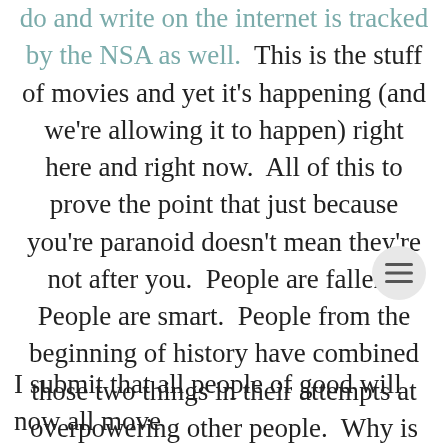do and write on the internet is tracked by the NSA as well.  This is the stuff of movies and yet it's happening (and we're allowing it to happen) right here and right now.  All of this to prove the point that just because you're paranoid doesn't mean they're not after you.  People are fallen.  People are smart.  People from the beginning of history have combined those two things in their attempts at overpowering other people.  Why is that so hard to believe to those who snobbishly and foolishly declare that they don't believe in conspiracy theories?
I submit that all people of good will now all move